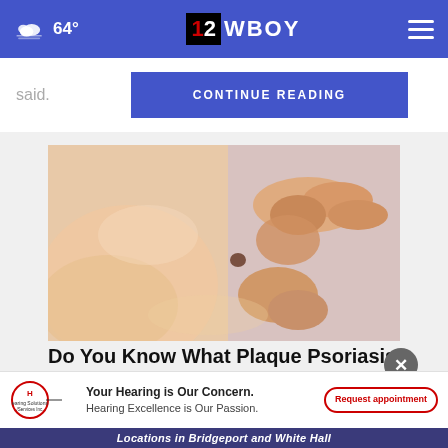64° | 12WBOY
said.
CONTINUE READING
[Figure (photo): Close-up photo of a hand scratching skin with a mole, related to plaque psoriasis advertisement]
Do You Know What Plaque Psoriasis Is? (Take a Look)
[Figure (logo): Hearing Solutions & Services Inc. logo with tagline: Your Hearing is Our Concern. Hearing Excellence is Our Passion. Request appointment button.]
Locations in Bridgeport and White Hall